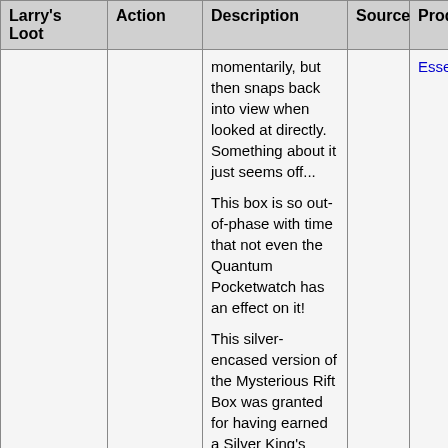| Larry's Loot | Action | Description | Source | Produce |
| --- | --- | --- | --- | --- |
|  |  | momentarily, but then snaps back into view when looked at directly. Something about it just seems off...

This box is so out-of-phase with time that not even the Quantum Pocketwatch has an effect on it!

This silver-encased version of the Mysterious Rift Box was granted for having earned a Silver King's Crown representing 100 catches of the Absolute Acolyte Mouse. With it |  | Essence |